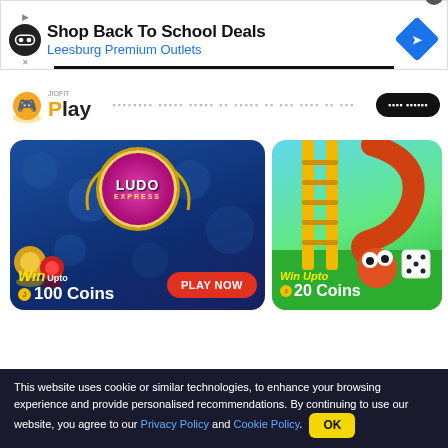[Figure (screenshot): Advertisement banner: Shop Back To School Deals, Leesburg Premium Outlets]
Play — navigation bar with logo and Hindi tagline text and button
[Figure (screenshot): Ludo Express game card: Win Upto 100 Coins, PLAY NOW button]
[Figure (screenshot): Snake game card: Win Upto 20 Coins]
This website uses cookie or similar technologies, to enhance your browsing experience and provide personalised recommendations. By continuing to use our website, you agree to our Privacy Policy and Cookie Policy. OK